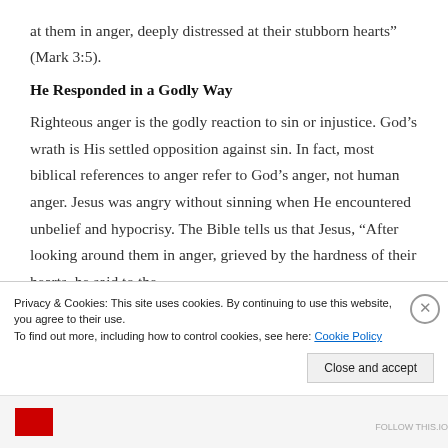at them in anger, deeply distressed at their stubborn hearts” (Mark 3:5).
He Responded in a Godly Way
Righteous anger is the godly reaction to sin or injustice. God’s wrath is His settled opposition against sin. In fact, most biblical references to anger refer to God’s anger, not human anger. Jesus was angry without sinning when He encountered unbelief and hypocrisy. The Bible tells us that Jesus, “After looking around them in anger, grieved by the hardness of their hearts, he said to the
Privacy & Cookies: This site uses cookies. By continuing to use this website, you agree to their use.
To find out more, including how to control cookies, see here: Cookie Policy
Close and accept